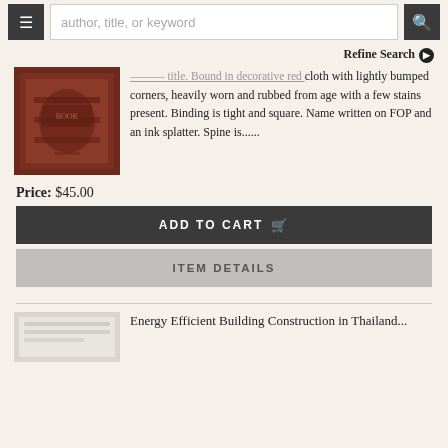author, title, or keyword [search bar with menu and search buttons]
Refine Search ❯
[Figure (photo): Photo of an old dark red/brown book with decorative cover]
cloth with lightly bumped corners, heavily worn and rubbed from age with a few stains present. Binding is tight and square. Name written on FOP and an ink splatter. Spine is......
Price: $45.00
ADD TO CART 🛒
ITEM DETAILS
[Figure (photo): Partial photo of next item, a book]
Energy Efficient Building Construction in Thailand...